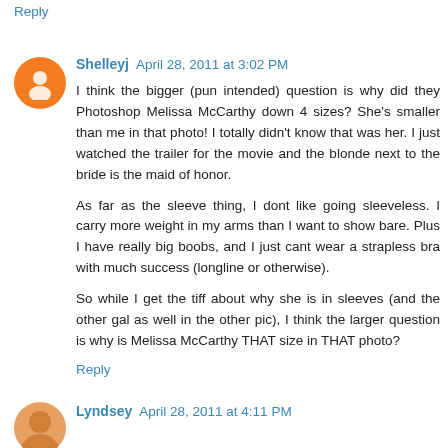Reply
Shelleyj April 28, 2011 at 3:02 PM
I think the bigger (pun intended) question is why did they Photoshop Melissa McCarthy down 4 sizes? She's smaller than me in that photo! I totally didn't know that was her. I just watched the trailer for the movie and the blonde next to the bride is the maid of honor.

As far as the sleeve thing, I dont like going sleeveless. I carry more weight in my arms than I want to show bare. Plus I have really big boobs, and I just cant wear a strapless bra with much success (longline or otherwise).

So while I get the tiff about why she is in sleeves (and the other gal as well in the other pic), I think the larger question is why is Melissa McCarthy THAT size in THAT photo?
Reply
Lyndsey April 28, 2011 at 4:11 PM